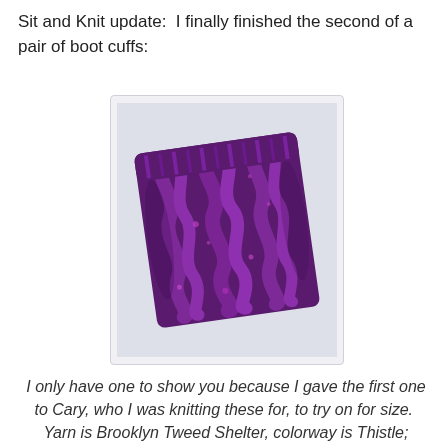Sit and Knit update:  I finally finished the second of a pair of boot cuffs:
[Figure (photo): A purple cable-knit boot cuff laid flat on a white surface. The yarn is a rich purple/violet color with flecks, showing a textured cable pattern. The item is rectangular/slightly diagonal.]
I only have one to show you because I gave the first one to Cary, who I was knitting these for, to try on for size.  Yarn is Brooklyn Tweed Shelter, colorway is Thistle; pattern is